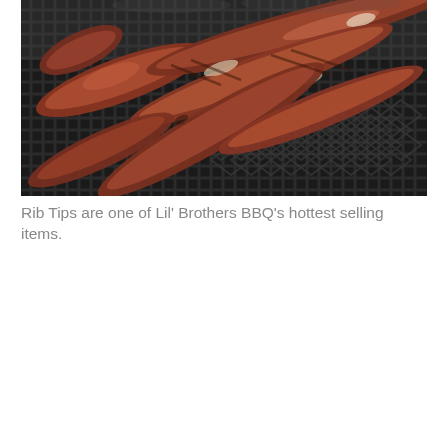[Figure (photo): Close-up photograph of rib tips cooking on a dark charcoal grill grate. The meat pieces are seasoned with spices and appear reddish-brown, arranged diagonally across the diamond-pattern metal grill grates with smoke visible.]
Rib Tips are one of Lil' Brothers BBQ's hottest selling items.